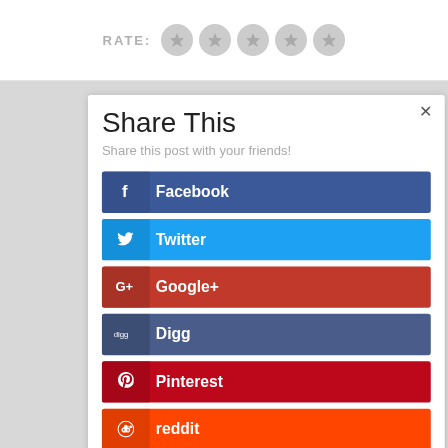[Figure (screenshot): Rating bar with 'RATE:' label and 5 gray star circles]
Share This
Share this post with your friends!
Facebook
Twitter
Google+
Digg
Pinterest
reddit